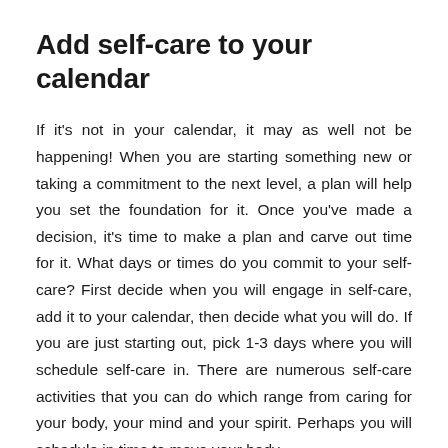Add self-care to your calendar
If it's not in your calendar, it may as well not be happening! When you are starting something new or taking a commitment to the next level, a plan will help you set the foundation for it. Once you've made a decision, it's time to make a plan and carve out time for it. What days or times do you commit to your self-care? First decide when you will engage in self-care, add it to your calendar, then decide what you will do. If you are just starting out, pick 1-3 days where you will schedule self-care in. There are numerous self-care activities that you can do which range from caring for your body, your mind and your spirit. Perhaps you will schedule in time to move your body